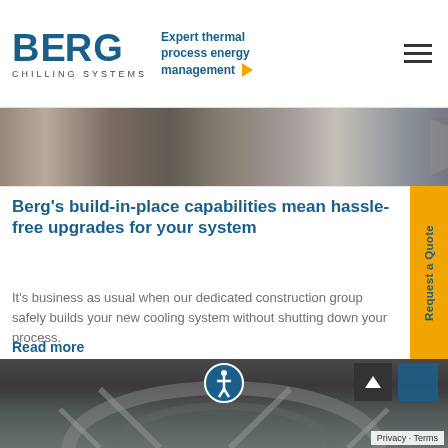BERG CHILLING SYSTEMS — Expert thermal process energy management
[Figure (photo): Industrial chilling/piping equipment photo strip at top of page]
Berg's build-in-place capabilities mean hassle-free upgrades for your system
It's business as usual when our dedicated construction group safely builds your new cooling system without shutting down your process.
Read more
[Figure (photo): Industrial cooling towers/equipment photo strip at bottom of page]